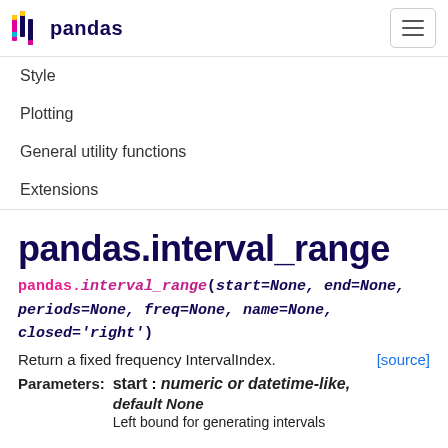pandas
Style
Plotting
General utility functions
Extensions
pandas.interval_range
pandas.interval_range(start=None, end=None, periods=None, freq=None, name=None, closed='right')
Return a fixed frequency IntervalIndex.
[source]
Parameters: start : numeric or datetime-like, default None
Left bound for generating intervals